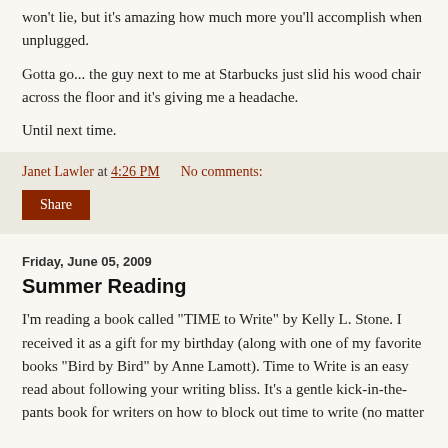won't lie, but it's amazing how much more you'll accomplish when unplugged.
Gotta go... the guy next to me at Starbucks just slid his wood chair across the floor and it's giving me a headache.
Until next time.
Janet Lawler at 4:26 PM    No comments:
Share
Friday, June 05, 2009
Summer Reading
I'm reading a book called "TIME to Write" by Kelly L. Stone. I received it as a gift for my birthday (along with one of my favorite books "Bird by Bird" by Anne Lamott). Time to Write is an easy read about following your writing bliss. It's a gentle kick-in-the-pants book for writers on how to block out time to write (no matter